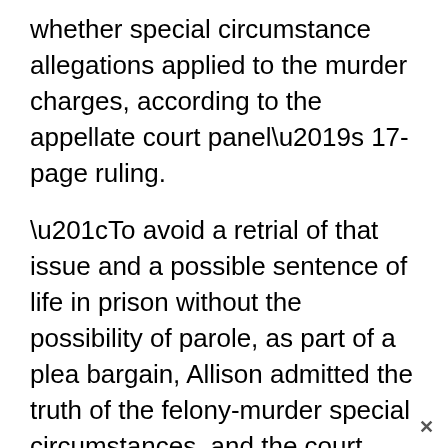whether special circumstance allegations applied to the murder charges, according to the appellate court panel's 17-page ruling.
“To avoid a retrial of that issue and a possible sentence of life in prison without the possibility of parole, as part of a plea bargain, Allison admitted the truth of the felony-murder special circumstances, and the court found there was a factual basis for the admission and accepted the plea,” Presiding Justice Frances Rothschild wrote on behalf of the appeals court panel.
Smith was sentenced to life in prison for the killings.